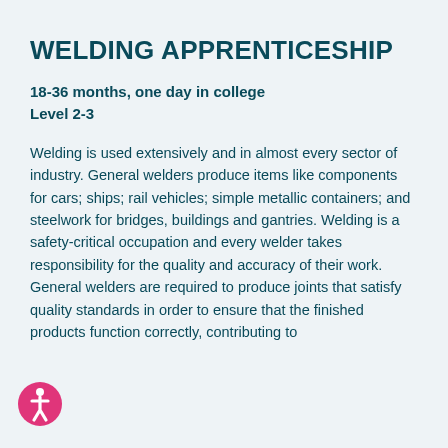WELDING APPRENTICESHIP
18-36 months, one day in college
Level 2-3
Welding is used extensively and in almost every sector of industry. General welders produce items like components for cars; ships; rail vehicles; simple metallic containers; and steelwork for bridges, buildings and gantries. Welding is a safety-critical occupation and every welder takes responsibility for the quality and accuracy of their work. General welders are required to produce joints that satisfy quality standards in order to ensure that the finished products function correctly, contributing to
[Figure (illustration): Accessibility icon: circular pink/magenta badge with white human figure symbol]